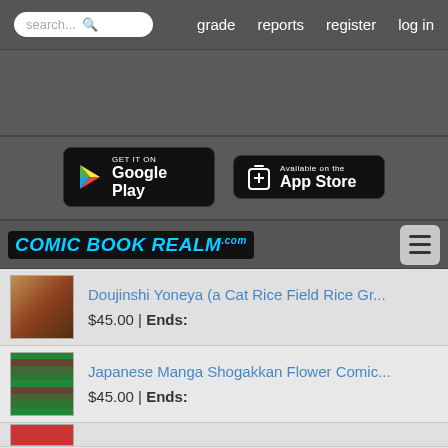search... | grade | reports | register | log in
[Figure (logo): Google Play store badge]
[Figure (logo): Apple App Store badge]
[Figure (logo): Comic Book Realm logo]
Doujinshi Yoneya (a Cat Rice Field Rice Gr... $45.00 | Ends:
Japanese Manga Shogakkan Flower Comic... $45.00 | Ends: